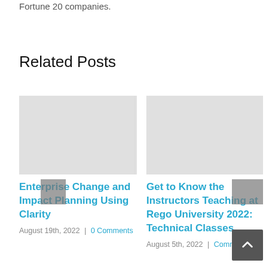Fortune 20 companies.
Related Posts
Enterprise Change and Impact Planning Using Clarity
August 19th, 2022  |  0 Comments
Get to Know the Instructors Teaching at Rego University 2022: Technical Classes
August 5th, 2022  |  Comments